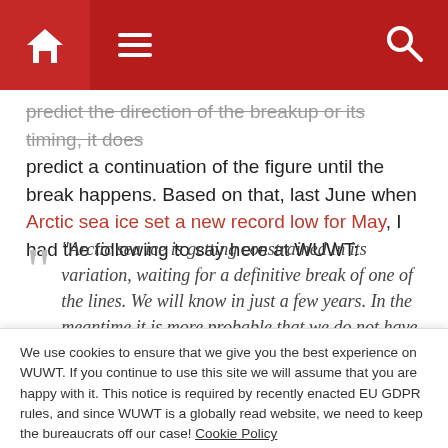WUWT navigation bar with home, menu, and search icons
predict the direction of the breakup or its timing, it does predict a continuation of the figure until the break happens. Based on that, last June when Arctic sea ice set a new record low for May, I had the following to say here at WUWT:
“Arctic sea ice is getting constrained in its variation, waiting for a definitive break of one of the lines. We will know in just a few years. In the meantime it is more probable that we do not have a record low in summer
We use cookies to ensure that we give you the best experience on WUWT. If you continue to use this site we will assume that you are happy with it. This notice is required by recently enacted EU GDPR rules, and since WUWT is a globally read website, we need to keep the bureaucrats off our case! Cookie Policy
Close and accept